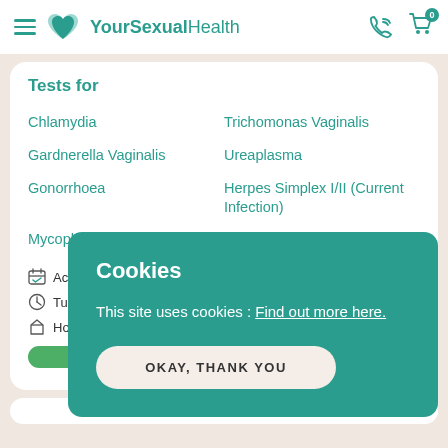YourSexualHealth
Tests for
Chlamydia
Trichodmonas Vaginalis
Gardnerella Vaginalis
Ureaplasma
Gonorrhoea
Herpes Simplex I/II (Current Infection)
Mycoplasma
Accurate from
Turnaround
Home Test
Cookies
This site uses cookies : Find out more here.
OKAY, THANK YOU